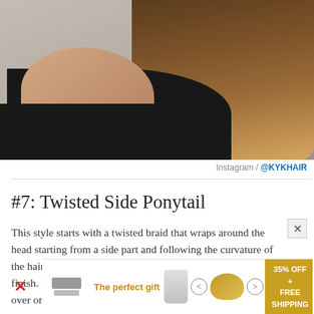[Figure (photo): Photo of a woman from behind showing a twisted side ponytail hairstyle. She is wearing a black sleeveless top and her hair falls over one shoulder. Background is a neutral wall.]
Instagram / @KYKHAIR
#7: Twisted Side Ponytail
This style starts with a twisted braid that wraps around the head starting from a side part and following the curvature of the hairline. Use fingers to loosen the weave for a pretty finish. Ends are left loose creating a romantic tail that falls over one shoulder.
[Figure (other): Advertisement banner: The perfect gift - 35% OFF + FREE SHIPPING]